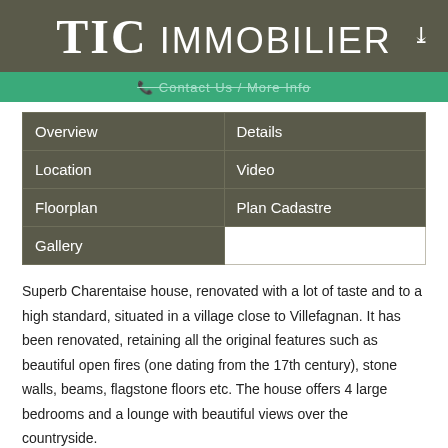TIC IMMOBILIER
[Figure (screenshot): Green bar with 'Contact Us / More Info' text]
| Overview | Details |
| Location | Video |
| Floorplan | Plan Cadastre |
| Gallery |  |
Superb Charentaise house, renovated with a lot of taste and to a high standard, situated in a village close to Villefagnan. It has been renovated, retaining all the original features such as beautiful open fires (one dating from the 17th century), stone walls, beams, flagstone floors etc. The house offers 4 large bedrooms and a lounge with beautiful views over the countryside.
It benefits from a gas central heating system on the ground floor and